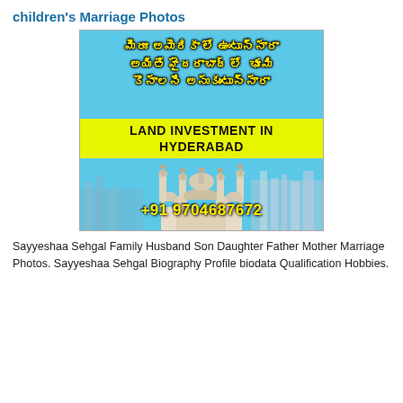children's Marriage Photos
[Figure (infographic): Advertisement for Land Investment in Hyderabad. Blue background with Telugu text in yellow, a yellow banner saying 'LAND INVESTMENT IN HYDERABAD', an illustration of Charminar monument, and phone number +91 9704687672.]
Sayyeshaa Sehgal Family Husband Son Daughter Father Mother Marriage Photos. Sayyeshaa Sehgal Biography Profile biodata Qualification Hobbies.